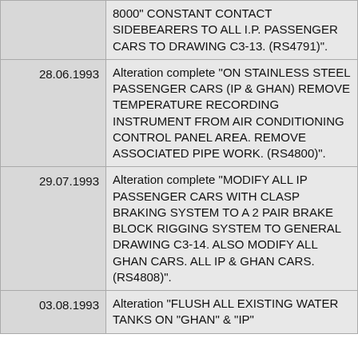| Date | Description |
| --- | --- |
|  | 8000" CONSTANT CONTACT SIDEBEARERS TO ALL I.P. PASSENGER CARS TO DRAWING C3-13. (RS4791)". |
| 28.06.1993 | Alteration complete "ON STAINLESS STEEL PASSENGER CARS (IP & GHAN) REMOVE TEMPERATURE RECORDING INSTRUMENT FROM AIR CONDITIONING CONTROL PANEL AREA. REMOVE ASSOCIATED PIPE WORK. (RS4800)". |
| 29.07.1993 | Alteration complete "MODIFY ALL IP PASSENGER CARS WITH CLASP BRAKING SYSTEM TO A 2 PAIR BRAKE BLOCK RIGGING SYSTEM TO GENERAL DRAWING C3-14. ALSO MODIFY ALL GHAN CARS. ALL IP & GHAN CARS. (RS4808)". |
| 03.08.1993 | Alteration "FLUSH ALL EXISTING WATER TANKS ON "GHAN" & "IP" |